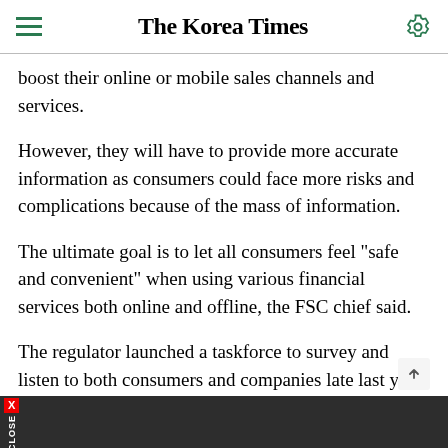The Korea Times
boost their online or mobile sales channels and services.
However, they will have to provide more accurate information as consumers could face more risks and complications because of the mass of information.
The ultimate goal is to let all consumers feel "safe and convenient" when using various financial services both online and offline, the FSC chief said.
The regulator launched a taskforce to survey and listen to both consumers and companies late last year.